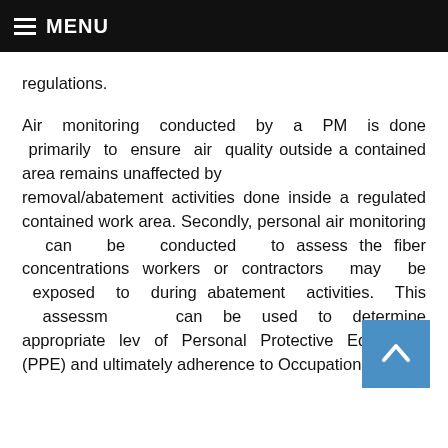MENU
regulations.
Air monitoring conducted by a PM is done primarily to ensure air quality outside a contained area remains unaffected by removal/abatement activities done inside a regulated contained work area. Secondly, personal air monitoring can be conducted to assess the fiber concentrations workers or contractors may be exposed to during abatement activities. This assessment can be used to determine appropriate levels of Personal Protective Equipment (PPE) and ultimately adherence to Occupational Safety